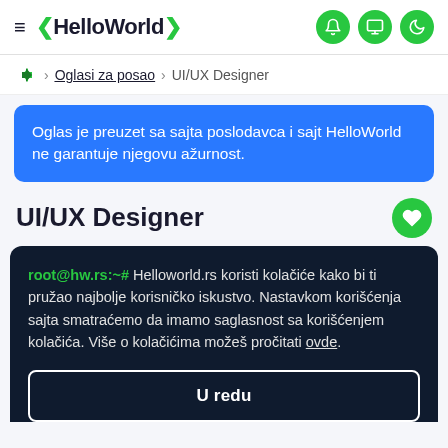≡ ❮HelloWorld❯ [bell] [chat] [moon]
❮/❯ > Oglasi za posao > UI/UX Designer
Oglas je preuzet sa sajta poslodavca i sajt HelloWorld ne garantuje njegovu ažurnost.
UI/UX Designer
root@hw.rs:~# Helloworld.rs koristi kolačiće kako bi ti pružao najbolje korisničko iskustvo. Nastavkom korišćenja sajta smatraćemo da imamo saglasnost sa korišćenjem kolačića. Više o kolačićima možeš pročitati ovde.
U redu